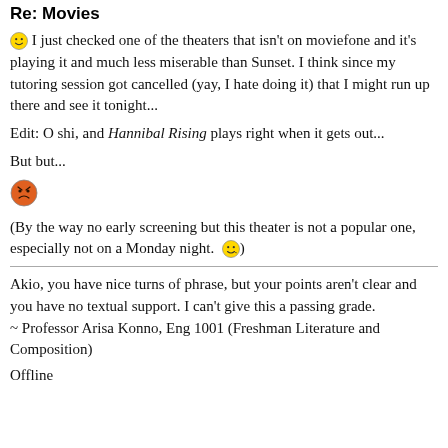Re: Movies
I just checked one of the theaters that isn't on moviefone and it's playing it and much less miserable than Sunset. I think since my tutoring session got cancelled (yay, I hate doing it) that I might run up there and see it tonight...
Edit: O shi, and Hannibal Rising plays right when it gets out...
But but...
[Figure (illustration): Angry/frustrated emoticon emoji]
(By the way no early screening but this theater is not a popular one, especially not on a Monday night. [happy emoji])
Akio, you have nice turns of phrase, but your points aren't clear and you have no textual support. I can't give this a passing grade.
~ Professor Arisa Konno, Eng 1001 (Freshman Literature and Composition)
Offline